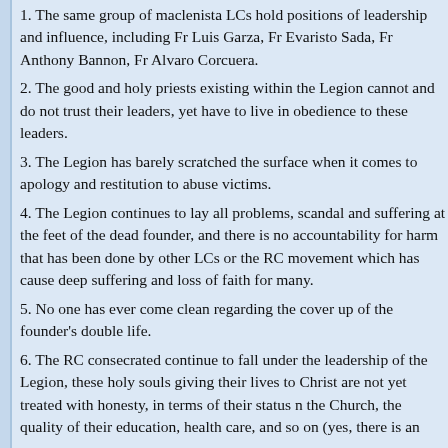1. The same group of maclenista LCs hold positions of leadership and influence, including Fr Luis Garza, Fr Evaristo Sada, Fr Anthony Bannon, Fr Alvaro Corcuera.
2. The good and holy priests existing within the Legion cannot and do not trust their leaders, yet have to live in obedience to these leaders.
3. The Legion has barely scratched the surface when it comes to apology and restitution to abuse victims.
4. The Legion continues to lay all problems, scandal and suffering at the feet of the dead founder, and there is no accountability for harm that has been done by other LCs or the RC movement which has cause deep suffering and loss of faith for many.
5. No one has ever come clean regarding the cover up of the founder's double life.
6. The RC consecrated continue to fall under the leadership of the Legion, these holy souls giving their lives to Christ are not yet treated with honesty, in terms of their status n the Church, the quality of their education, health care, and so on (yes, there is an